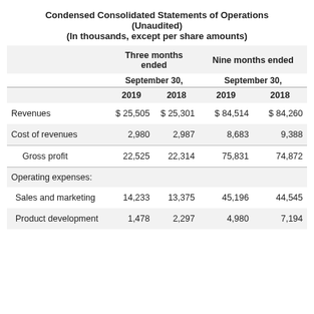Condensed Consolidated Statements of Operations (Unaudited) (In thousands, except per share amounts)
|  | Three months ended September 30, 2019 | Three months ended September 30, 2018 | Nine months ended September 30, 2019 | Nine months ended September 30, 2018 |
| --- | --- | --- | --- | --- |
| Revenues | $ 25,505 | $ 25,301 | $ 84,514 | $ 84,260 |
| Cost of revenues | 2,980 | 2,987 | 8,683 | 9,388 |
| Gross profit | 22,525 | 22,314 | 75,831 | 74,872 |
| Operating expenses: |  |  |  |  |
| Sales and marketing | 14,233 | 13,375 | 45,196 | 44,545 |
| Product development | 1,478 | 2,297 | 4,980 | 7,194 |